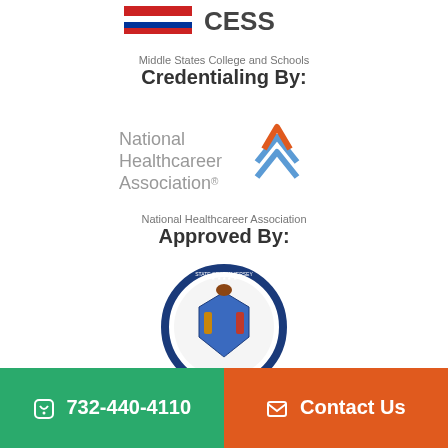[Figure (logo): CESS logo with red and blue design at top]
Middle States College and Schools
Credentialing By:
[Figure (logo): National Healthcareer Association logo with stylized arrow/mountain mark in blue and orange]
National Healthcareer Association
Approved By:
[Figure (logo): State of New Jersey Department of Education circular seal]
732-440-4110
Contact Us